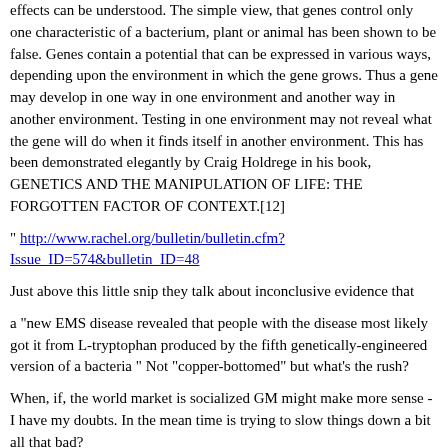effects can be understood. The simple view, that genes control only one characteristic of a bacterium, plant or animal has been shown to be false. Genes contain a potential that can be expressed in various ways, depending upon the environment in which the gene grows. Thus a gene may develop in one way in one environment and another way in another environment. Testing in one environment may not reveal what the gene will do when it finds itself in another environment. This has been demonstrated elegantly by Craig Holdrege in his book, GENETICS AND THE MANIPULATION OF LIFE: THE FORGOTTEN FACTOR OF CONTEXT.[12]
" http://www.rachel.org/bulletin/bulletin.cfm?Issue_ID=574&bulletin_ID=48
Just above this little snip they talk about inconclusive evidence that
a "new EMS disease revealed that people with the disease most likely got it from L-tryptophan produced by the fifth genetically-engineered version of a bacteria " Not "copper-bottomed" but what's the rush?
When, if, the world market is socialized GM might make more sense - I have my doubts. In the mean time is trying to slow things down a bit all that bad?